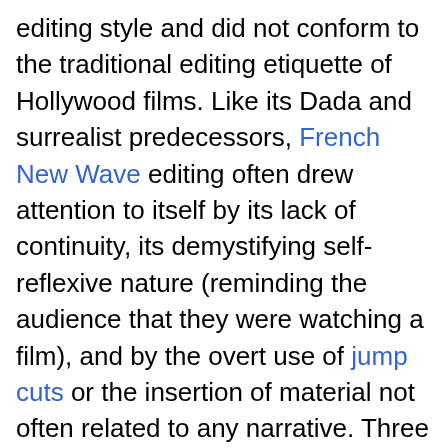editing style and did not conform to the traditional editing etiquette of Hollywood films. Like its Dada and surrealist predecessors, French New Wave editing often drew attention to itself by its lack of continuity, its demystifying self-reflexive nature (reminding the audience that they were watching a film), and by the overt use of jump cuts or the insertion of material not often related to any narrative. Three of the most influential editors of French New Wave films were the women who (in combination) edited 15 of Godard's films: Francoise Collin, Agnes Guillemot, and Cecile Decugis, and another notable editor is Marie-Josèphe Yoyotte, the first black woman editor in French cinema and editor of The 400 Blows.[10]
Since the late 20th century Post-classical editing